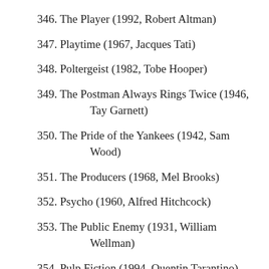346. The Player (1992, Robert Altman)
347. Playtime (1967, Jacques Tati)
348. Poltergeist (1982, Tobe Hooper)
349. The Postman Always Rings Twice (1946, Tay Garnett)
350. The Pride of the Yankees (1942, Sam Wood)
351. The Producers (1968, Mel Brooks)
352. Psycho (1960, Alfred Hitchcock)
353. The Public Enemy (1931, William Wellman)
354. Pulp Fiction (1994, Quentin Tarantino)
355. The Quiet Man (1952, John Ford)
356. Raging Bull (1980, Martin Scorsese)